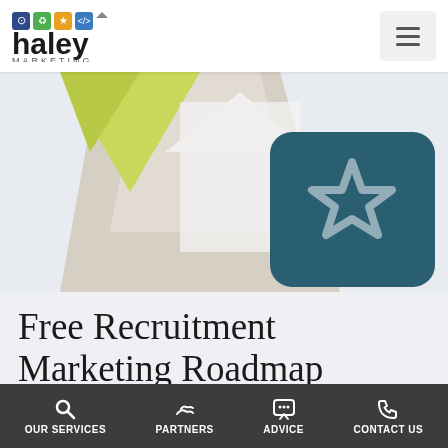haley MARKETING
[Figure (illustration): Hero image with abstract roadmap geometric shapes (triangles in green, beige, grey) and a teal rounded-square icon with a star outline]
Free Recruitment Marketing Roadmap
Let us review everything you are doing now and layout a roadmap to getting more job orders filled.
OUR SERVICES   PARTNERS   ADVICE   CONTACT US